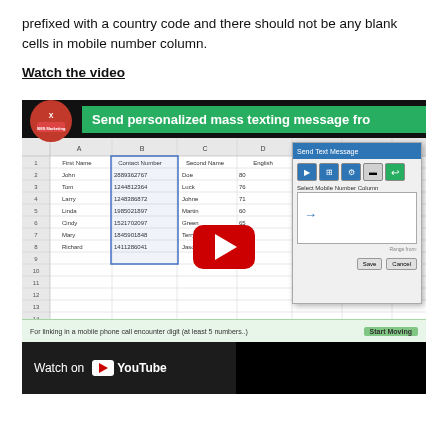prefixed with a country code and there should not be any blank cells in mobile number column.
Watch the video
[Figure (screenshot): YouTube video thumbnail showing 'Send personalized mass texting message from...' with an Excel spreadsheet visible and a dialog box overlay, with YouTube play button in center and 'Watch on YouTube' bar at bottom left.]